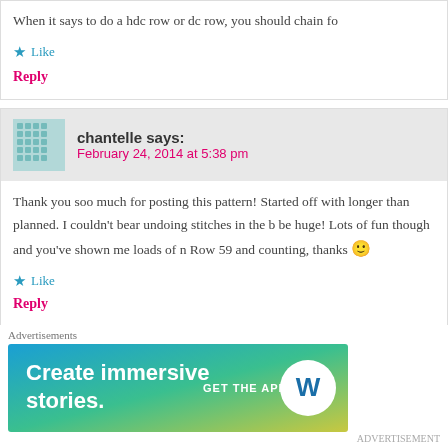When it says to do a hdc row or dc row, you should chain fo
Like
Reply
chantelle says:
February 24, 2014 at 5:38 pm
Thank you soo much for posting this pattern! Started off with longer than planned. I couldn't bear undoing stitches in the b be huge! Lots of fun though and you've shown me loads of n Row 59 and counting, thanks 🙂
Like
Reply
[Figure (infographic): WordPress advertisement banner: 'Create immersive stories. GET THE APP' with WordPress logo on a blue-green gradient background]